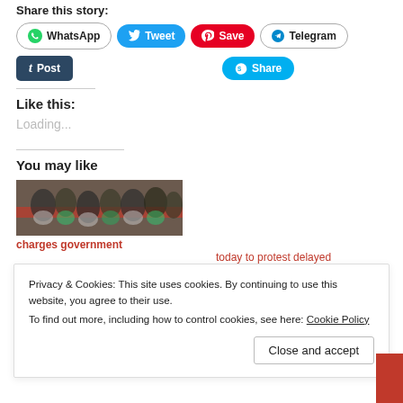Share this story:
[Figure (infographic): Social share buttons row 1: WhatsApp, Tweet, Save (Pinterest), Telegram]
[Figure (infographic): Social share buttons row 2: Post (Tumblr), Share (Skype)]
Like this:
Loading...
You may like
[Figure (photo): Group of people in green uniforms gathered together outdoors]
charges government
today to protest delayed
Privacy & Cookies: This site uses cookies. By continuing to use this website, you agree to their use.
To find out more, including how to control cookies, see here: Cookie Policy